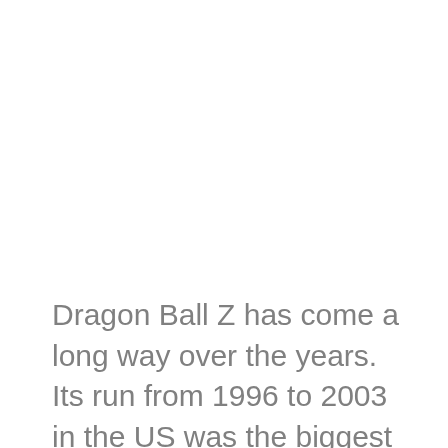Dragon Ball Z has come a long way over the years. Its run from 1996 to 2003 in the US was the biggest anime hit during those days. One of the most popular traits of the show was that Goku knew how to make a friend out of his enemies. And to give the perfect feel of